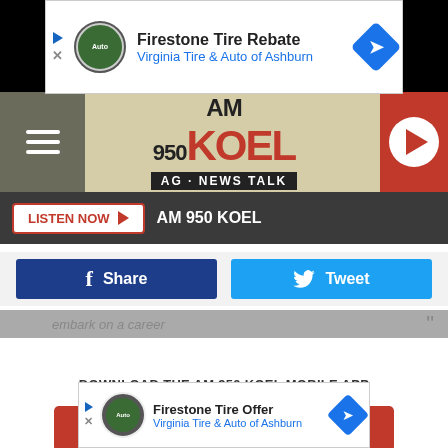[Figure (screenshot): Firestone Tire Rebate advertisement banner for Virginia Tire & Auto of Ashburn]
[Figure (logo): AM 950 KOEL AG-News Talk radio station logo with navigation hamburger menu and play button]
LISTEN NOW  AM 950 KOEL
[Figure (infographic): Facebook Share button (dark blue) and Twitter Tweet button (light blue)]
embark on a career
DOWNLOAD THE AM 950 KOEL MOBILE APP
GET OUR FREE MOBILE APP
If they only ter.
During a family gathering on the night of December 30, 1987, Robert entered the home and opened fire on his parents, sister, niece, and nephews. Per an article by APNews at the time, "John Dreesman, 79; his wife, Agnes, 74; Marilyn Chuan 11, and Jo ng
[Figure (screenshot): Firestone Tire Offer advertisement banner for Virginia Tire & Auto of Ashburn]